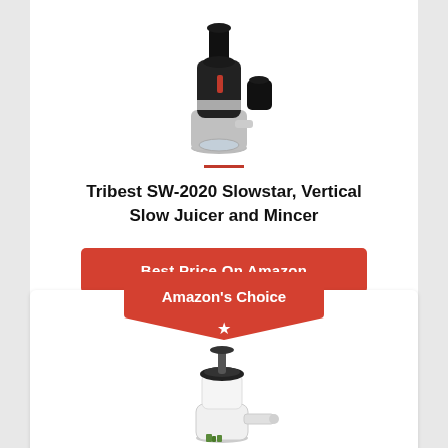[Figure (photo): Black and silver Tribest SW-2020 Slowstar vertical slow juicer and mincer appliance]
Tribest SW-2020 Slowstar, Vertical Slow Juicer and Mincer
Best Price On Amazon
[Figure (infographic): Amazon's Choice badge with red banner shape and white star]
[Figure (photo): White Omega vertical slow juicer appliance, partial view]